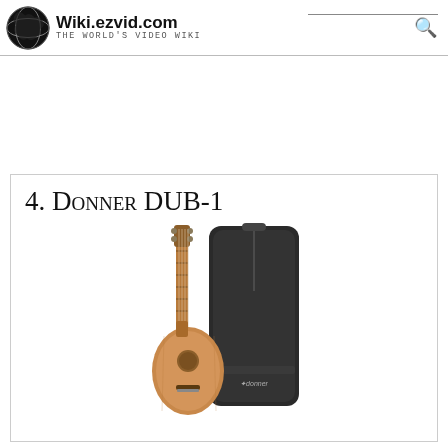Wiki.ezvid.com — The World's Video Wiki
4. Donner DUB-1
[Figure (photo): A Donner DUB-1 ukulele (mahogany body, natural wood finish) leaning against a black padded gig bag with Donner branding.]